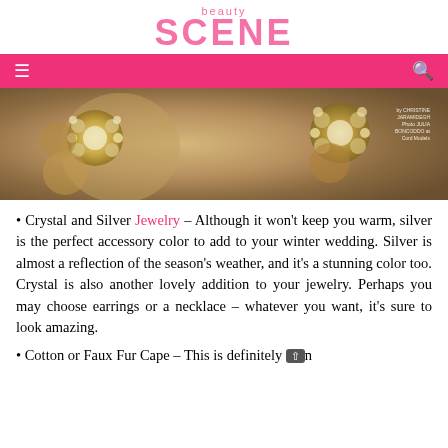beauty SCENE
[Figure (photo): Close-up photo of crystal and gold jewelry pieces (ornate floral earrings) on a dark background with photographer credits in top right corner]
Crystal and Silver Jewelry – Although it won't keep you warm, silver is the perfect accessory color to add to your winter wedding. Silver is almost a reflection of the season's weather, and it's a stunning color too. Crystal is also another lovely addition to your jewelry. Perhaps you may choose earrings or a necklace – whatever you want, it's sure to look amazing.
Cotton or Faux Fur Cape – This is definitely an